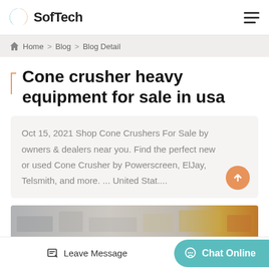SofTech
Home > Blog > Blog Detail
Cone crusher heavy equipment for sale in usa
Oct 15, 2021 Shop Cone Crushers For Sale by owners & dealers near you. Find the perfect new or used Cone Crusher by Powerscreen, ElJay, Telsmith, and more. ... United Stat....
[Figure (photo): Photo strip of industrial heavy equipment / cone crusher machinery]
Leave Message | Chat Online